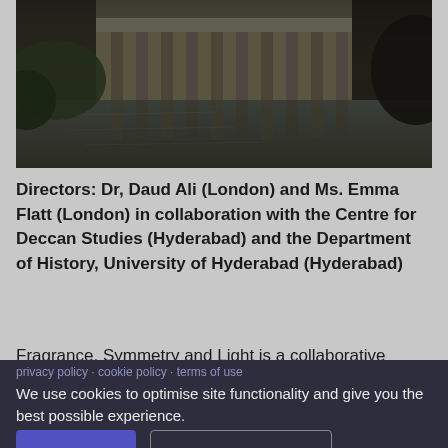[Figure (photo): Historic building with columns reflected in water, surrounded by vegetation, dark atmospheric photograph]
Directors: Dr, Daud Ali (London) and Ms. Emma Flatt (London) in collaboration with the Centre for Deccan Studies (Hyderabad) and the Department of History, University of Hyderabad (Hyderabad)
Fragrance, Symmetry and Light is a collaborative project drawing together scholars based at various universities in
We use cookies to optimise site functionality and give you the best possible experience.